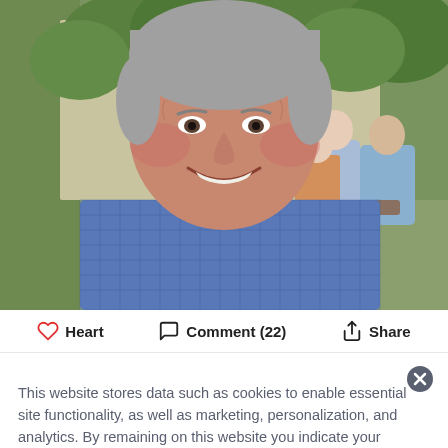[Figure (photo): Close-up photo of a smiling middle-aged man with gray hair wearing a blue gingham shirt, seated outdoors with green ivy background and other diners visible behind him.]
Heart   Comment (22)   Share
This website stores data such as cookies to enable essential site functionality, as well as marketing, personalization, and analytics. By remaining on this website you indicate your consent. Privacy Policy